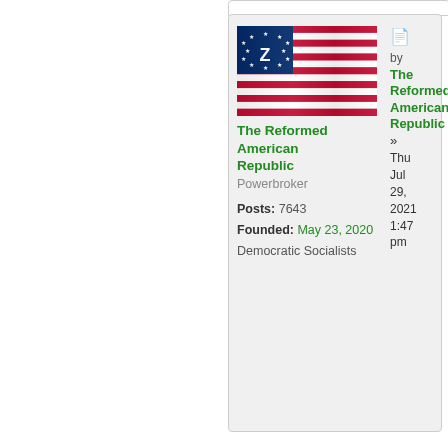[Figure (illustration): An American flag with a blue canton containing a 'Z' surrounded by stars, and red and white horizontal stripes. The flag appears to be waving.]
The Reformed American Republic
Powerbroker

Posts: 7643
Founded: May 23, 2020
Democratic Socialists
by The Reformed American Republic » Thu Jul 29, 2021 1:47 pm